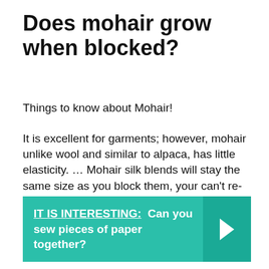Does mohair grow when blocked?
Things to know about Mohair!
It is excellent for garments; however, mohair unlike wool and similar to alpaca, has little elasticity. … Mohair silk blends will stay the same size as you block them, your can't re-block, you can rip it all out and steam the fiber then knit again, so know you're level of knitting.
IT IS INTERESTING:  Can you sew pieces of paper together?